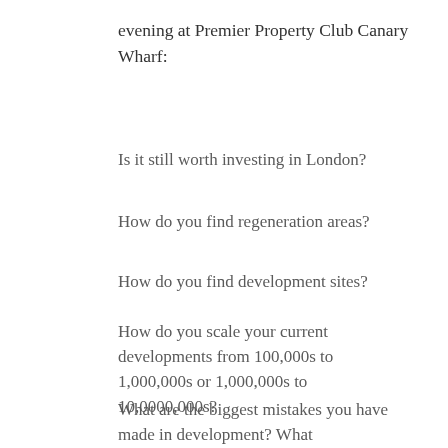evening at Premier Property Club Canary Wharf:
Is it still worth investing in London?
How do you find regeneration areas?
How do you find development sites?
How do you scale your current developments from 100,000s to 1,000,000s or 1,000,000s to 10,0000,000s?
What are the biggest mistakes you have made in development? What projects/investments have learnt the